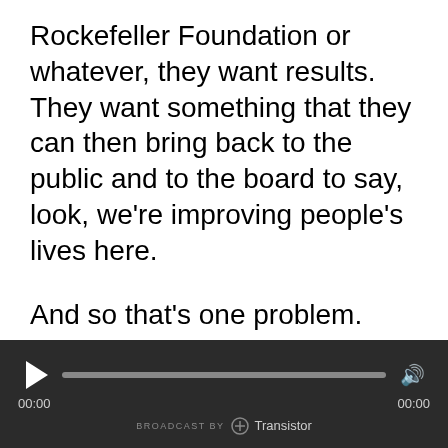Rockefeller Foundation or whatever, they want results. They want something that they can then bring back to the public and to the board to say, look, we're improving people's lives here.
And so that's one problem. And that's the second problem is that people have a generalized fear of any explanation involving genetics.
Steve Hsu: Yes, I can appreciate that. Especially in the social sciences.
[Figure (other): Audio player widget with dark background, play button, progress bar, volume icon, time displays showing 00:00 on both sides, and 'BROADCAST BY Transistor' branding at the bottom.]